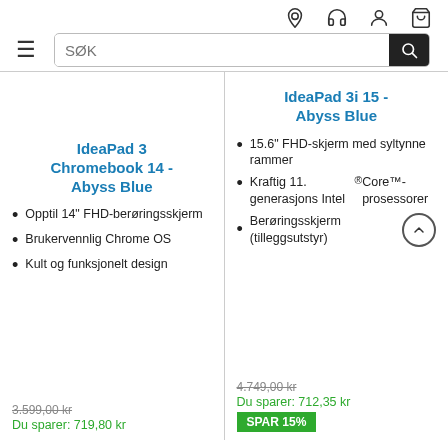Navigation icons: location, headset, user, cart
SØK (search bar)
IdeaPad 3 Chromebook 14 - Abyss Blue
Opptil 14" FHD-berøringsskjerm
Brukervennlig Chrome OS
Kult og funksjonelt design
3.599,00 kr (strikethrough)
Du sparer: 719,80 kr
IdeaPad 3i 15 - Abyss Blue
15.6" FHD-skjerm med syltynne rammer
Kraftig 11. generasjons Intel® Core™-prosessorer
Berøringsskjerm (tilleggsutstyr)
4.749,00 kr (strikethrough)
Du sparer: 712,35 kr
SPAR 15%